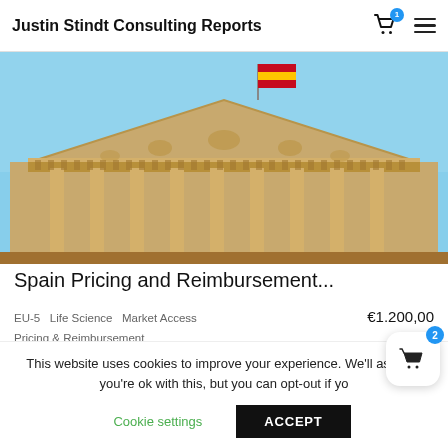Justin Stindt Consulting Reports
[Figure (photo): Photograph of a classical government building pediment with ornate stone sculptures and a Spanish flag (red, yellow, red stripes) flying above it against a blue sky.]
Spain Pricing and Reimbursement...
EU-5   Life Science   Market Access   €1.200,00
Pricing & Reimbursement
Add to cart
This website uses cookies to improve your experience. We'll assume you're ok with this, but you can opt-out if yo
Cookie settings
ACCEPT